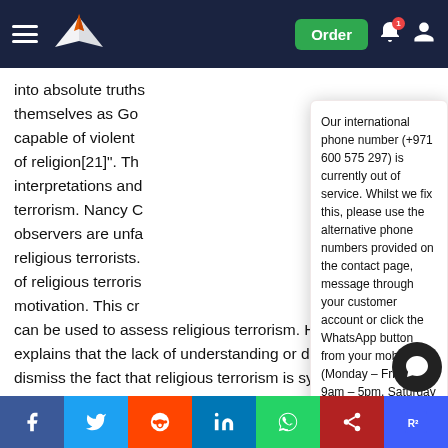[Navigation bar with hamburger menu, logo, Order button, bell icon, user icon]
into absolute truths themselves as Go capable of violent of religion[21]". Th interpretations and terrorism. Nancy C observers are unfa religious terrorists. of religious terroris motivation. This cr can be used to assess religious terrorism. However Digg explains that the lack of understanding or data cannot dismiss the fact that religious terrorism is systematize extreme interpretations of a religious text. Therefore Wener Ru dead all notions of [23]".
[Figure (screenshot): Popup notification reading: Our international phone number (+971 600 575 297) is currently out of service. Whilst we fix this, please use the alternative phone numbers provided on the contact page, message through your customer account or click the WhatsApp button from your mobile (Monday – Friday 9am – 5pm, Saturday 10am – 6pm UK time). August 20, 2022]
[Figure (other): Chat button - dark circular button with speech bubble icon in bottom right]
Social share bar with Facebook, Twitter, Reddit, LinkedIn, WhatsApp, and other share buttons